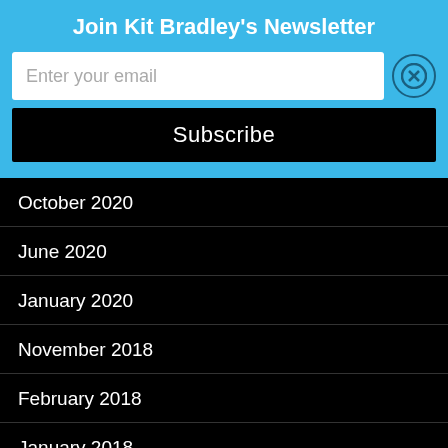Join Kit Bradley's Newsletter
Enter your email
Subscribe
October 2020
June 2020
January 2020
November 2018
February 2018
January 2018
November 2017
October 2017
September 2017